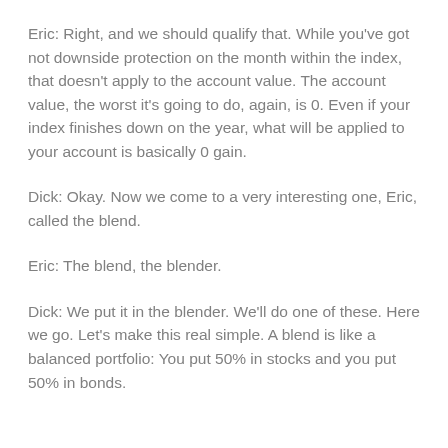Eric: Right, and we should qualify that. While you've got not downside protection on the month within the index, that doesn't apply to the account value. The account value, the worst it's going to do, again, is 0. Even if your index finishes down on the year, what will be applied to your account is basically 0 gain.
Dick: Okay. Now we come to a very interesting one, Eric, called the blend.
Eric: The blend, the blender.
Dick: We put it in the blender. We'll do one of these. Here we go. Let's make this real simple. A blend is like a balanced portfolio: You put 50% in stocks and you put 50% in bonds.